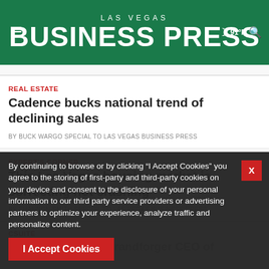LAS VEGAS BUSINESS PRESS
REAL ESTATE
Cadence bucks national trend of declining sales
BY BUCK WARGO SPECIAL TO LAS VEGAS BUSINESS PRESS
EXPERT'S CORNER
This Las Vegas housing market is correcting not crashing
BY SHANNON SMITH SPECIAL TO LAS VEGAS BUSINESS PRESS
CSUITE
CSUITE Meet Zeb Brandforger CEO of AlpurSpork
By continuing to browse or by clicking “I Accept Cookies” you agree to the storing of first-party and third-party cookies on your device and consent to the disclosure of your personal information to our third party service providers or advertising partners to optimize your experience, analyze traffic and personalize content.
I Accept Cookies